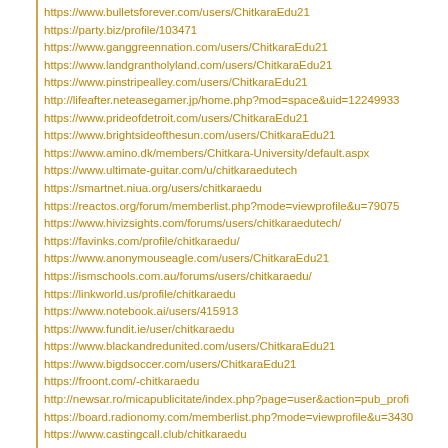https://www.bulletsforever.com/users/ChitkaraEdu21
https://party.biz/profile/103471
https://www.ganggreennation.com/users/ChitkaraEdu21
https://www.landgrantholyland.com/users/ChitkaraEdu21
https://www.pinstripealley.com/users/ChitkaraEdu21
http://lifeafter.neteasegamer.jp/home.php?mod=space&uid=12249933
https://www.prideofdetroit.com/users/ChitkaraEdu21
https://www.brightsideofthesun.com/users/ChitkaraEdu21
https://www.amino.dk/members/Chitkara-University/default.aspx
https://www.ultimate-guitar.com/u/chitkaraedutech
https://smartnet.niua.org/users/chitkaraedu
https://reactos.org/forum/memberlist.php?mode=viewprofile&u=79075
https://www.hivizsights.com/forums/users/chitkaraedutech/
https://favinks.com/profile/chitkaraedu/
https://www.anonymouseagle.com/users/ChitkaraEdu21
https://ismschools.com.au/forums/users/chitkaraedu/
https://linkworld.us/profile/chitkaraedu
https://www.notebook.ai/users/415913
https://www.fundit.ie/user/chitkaraedu
https://www.blackandredunited.com/users/ChitkaraEdu21
https://www.bigdsoccer.com/users/ChitkaraEdu21
https://froont.com/-chitkaraedu
http://newsar.ro/micapublicitate/index.php?page=user&action=pub_profi
https://board.radionomy.com/memberlist.php?mode=viewprofile&u=3430
https://www.castingcall.club/chitkaraedu
https://chitkaraedu.cgsociety.org/profile
https://smotra.ru/users/chitkaraedu/
https://www.spellsofmagic.com/profile.html?profile=637833